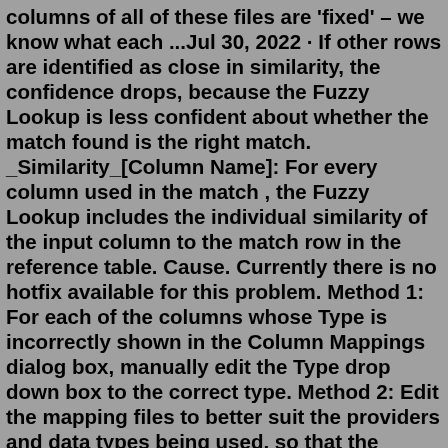columns of all of these files are 'fixed' – we know what each ...Jul 30, 2022 · If other rows are identified as close in similarity, the confidence drops, because the Fuzzy Lookup is less confident about whether the match found is the right match. _Similarity_[Column Name]: For every column used in the match , the Fuzzy Lookup includes the individual similarity of the input column to the match row in the reference table. Cause. Currently there is no hotfix available for this problem. Method 1: For each of the columns whose Type is incorrectly shown in the Column Mappings dialog box, manually edit the Type drop down box to the correct type. Method 2: Edit the mapping files to better suit the providers and data types being used, so that the mapping files will ...1. Fuzzy grouping -It is used primarily for deduplicating and standardizing values in column data. • Input parameters-1.Token delimiter 2. Similarity thresholds • Output columns-1. _key_in 2. _key_out 3. _score. 11 Implement Fuzzy grouping and Fuzzy lookup 2. The Fuzzy Lookup- It is used to replace the wrongly typed words with